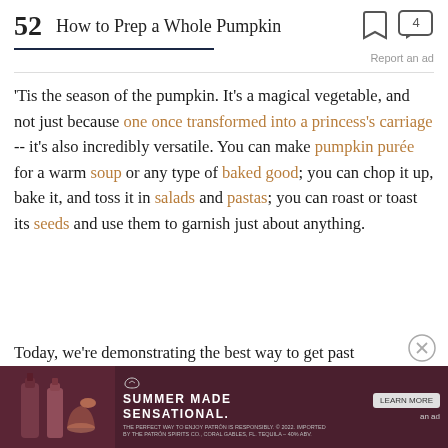52  How to Prep a Whole Pumpkin
'Tis the season of the pumpkin. It's a magical vegetable, and not just because one once transformed into a princess's carriage -- it's also incredibly versatile. You can make pumpkin purée for a warm soup or any type of baked good; you can chop it up, bake it, and toss it in salads and pastas; you can roast or toast its seeds and use them to garnish just about anything.
Today, we're demonstrating the best way to get past
[Figure (advertisement): Tequila advertisement: Summer Made Sensational with drink imagery on dark red background]